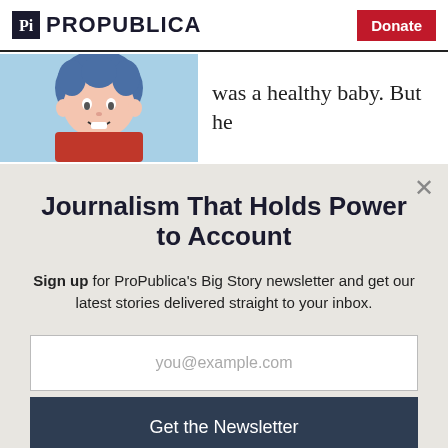ProPublica | Donate
[Figure (illustration): Illustrated portrait of a child with blue hair and red clothing, article thumbnail]
was a healthy baby. But he
Journalism That Holds Power to Account
Sign up for ProPublica's Big Story newsletter and get our latest stories delivered straight to your inbox.
you@example.com
Get the Newsletter
No thanks, I'm all set
This site is protected by reCAPTCHA and the Google Privacy Policy and Terms of Service apply.